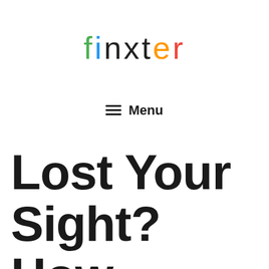[Figure (logo): Finxter logo with colorful letters: f(green), i(blue), n(black), x(black), t(black), e(orange), r(red)]
≡ Menu
Lost Your Sight? How to Code as